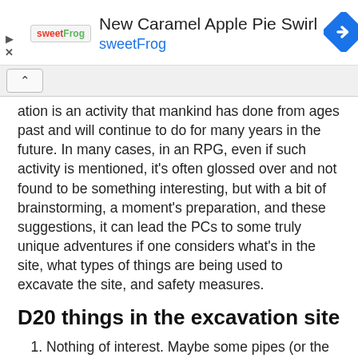[Figure (infographic): Advertisement banner for sweetFrog featuring 'New Caramel Apple Pie Swirl' with sweetFrog logo, brand name in teal, and a blue diamond navigation icon on the right. Play and close controls on the left.]
ation is an activity that mankind has done from ages past and will continue to do for many years in the future. In many cases, in an RPG, even if such activity is mentioned, it's often glossed over and not found to be something interesting, but with a bit of brainstorming, a moment's preparation, and these suggestions, it can lead the PCs to some truly unique adventures if one considers what's in the site, what types of things are being used to excavate the site, and safety measures.
D20 things in the excavation site
Nothing of interest. Maybe some pipes (or the sewer). Just a hole to be used to build the